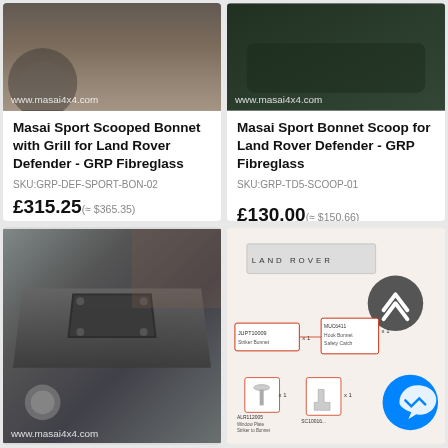[Figure (photo): Photo of Land Rover Defender bonnet with www.masai4x4.com watermark, top-left card]
Masai Sport Scooped Bonnet with Grill for Land Rover Defender - GRP Fibreglass
SKU:GRP-DEF-SPORT-BON-02
£315.25(≈ $365.35)
Buy Now
[Figure (photo): Photo of Land Rover Defender with black finish, www.masai4x4.com watermark, top-right card]
Masai Sport Bonnet Scoop for Land Rover Defender - GRP Fibreglass
SKU:GRP-TD5-SCOOP-01
£130.00(≈ $150.66)
Out of stock
[Figure (photo): Photo of dark grey Land Rover Defender bonnet scoop from close angle, www.masai4x4.com watermark, bottom-left]
[Figure (schematic): Engineering/parts schematic diagram of Land Rover bonnet components with part numbers and labels, with back-to-top circle button and Messenger chat bubble icon, bottom-right]